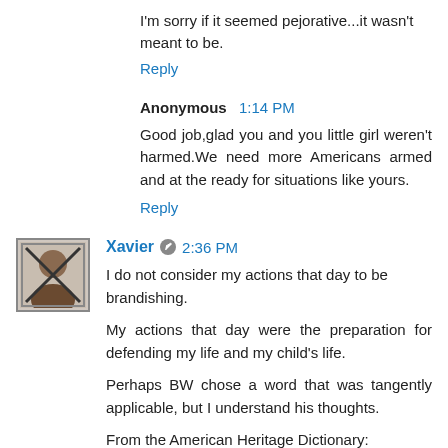I'm sorry if it seemed pejorative...it wasn't meant to be.
Reply
Anonymous  1:14 PM
Good job,glad you and you little girl weren't harmed.We need more Americans armed and at the ready for situations like yours.
Reply
Xavier  2:36 PM
I do not consider my actions that day to be brandishing.
My actions that day were the preparation for defending my life and my child's life.
Perhaps BW chose a word that was tangently applicable, but I understand his thoughts.
From the American Heritage Dictionary: bran·dish